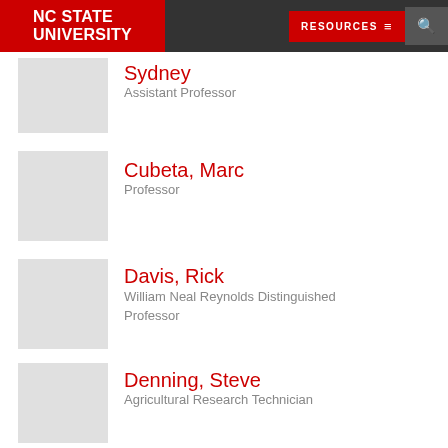NC STATE UNIVERSITY | RESOURCES
Sydney — Assistant Professor
Cubeta, Marc — Professor
Davis, Rick — William Neal Reynolds Distinguished Professor
Denning, Steve — Agricultural Research Technician
Douglas, Rachel — Research Assistant
Frank, St... (partially visible)